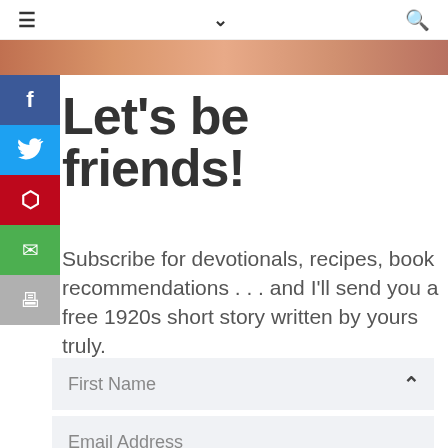≡   ∨   🔍
[Figure (photo): Partial image strip showing food or baked goods in warm brown/orange tones]
Let's be friends!
Subscribe for devotionals, recipes, book recommendations . . . and I'll send you a free 1920s short story written by yours truly.
First Name
Email Address